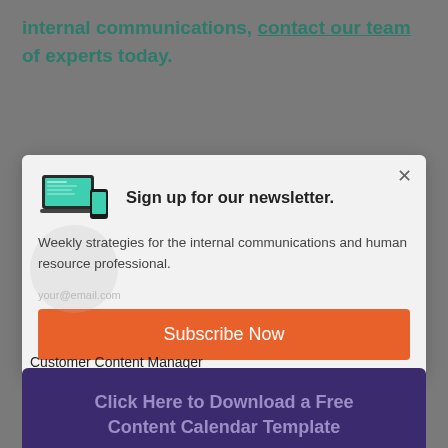internal communications, contact our team of experts today.
[Figure (screenshot): Newsletter sign-up modal overlay with laptop/phone image, title 'Sign up for our newsletter.', subtitle text, and orange Subscribe Now button.]
Customer Content Manager
Click Here to Download a Free Content Calendar Template